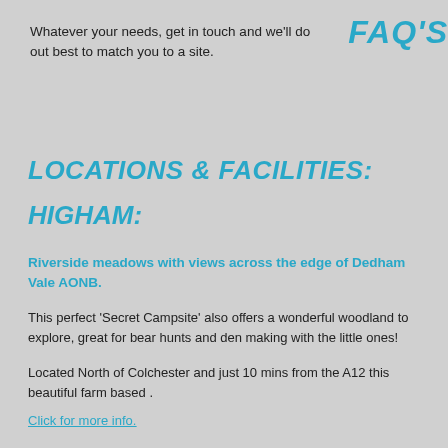Whatever your needs, get in touch and we'll do out best to match you to a site.
FAQ'S
LOCATIONS & FACILITIES:
HIGHAM:
Riverside meadows with views across the edge of Dedham Vale AONB.
This perfect 'Secret Campsite' also offers a wonderful woodland to explore, great for bear hunts and den making with the little ones!
Located North of Colchester and just 10 mins from the A12 this beautiful farm based .
Click for more info.